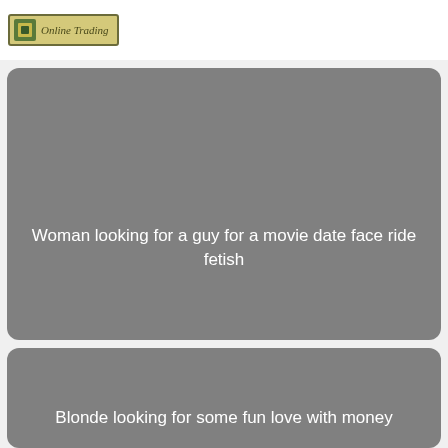Online Trading
[Figure (other): Gray rounded rectangle card with white text reading 'Woman looking for a guy for a movie date face ride fetish']
[Figure (other): Gray rounded rectangle card with white text reading 'Blonde looking for some fun love with money']